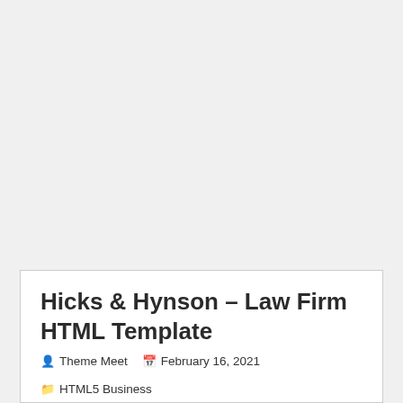Hicks & Hynson – Law Firm HTML Template
Theme Meet  February 16, 2021  HTML5 Business